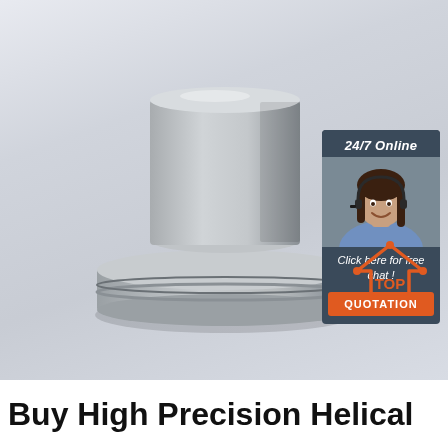[Figure (photo): A CNC-machined stainless steel precision part with a cylindrical top shaft and a wider circular base flange, placed on a light grey/blue surface. In the upper right corner there is a chat widget overlay with '24/7 Online' header, a photo of a smiling woman with a headset, 'Click here for free chat!' text, and an orange 'QUOTATION' button. In the lower right there is a 'TOP' logo with an orange house/triangle icon.]
Buy High Precision Helical